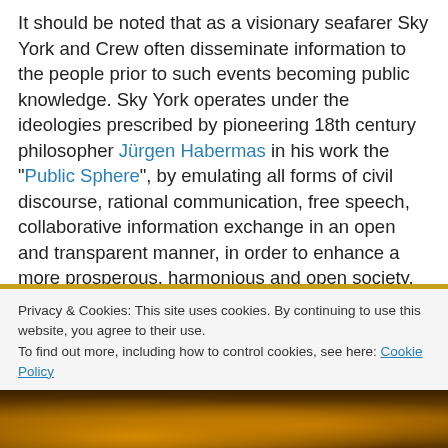It should be noted that as a visionary seafarer Sky York and Crew often disseminate information to the people prior to such events becoming public knowledge. Sky York operates under the ideologies prescribed by pioneering 18th century philosopher Jürgen Habermas in his work the "Public Sphere", by emulating all forms of civil discourse, rational communication, free speech, collaborative information exchange in an open and transparent manner, in order to enhance a more prosperous, harmonious and open society.
Privacy & Cookies: This site uses cookies. By continuing to use this website, you agree to their use. To find out more, including how to control cookies, see here: Cookie Policy
[Figure (photo): Partial photo strip at bottom of page showing a dark warm-toned scene with golden/orange hues, possibly a fire or sunset.]